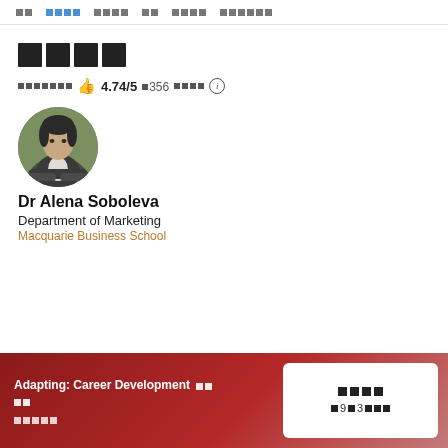□□  □□□□  □□□□  □□  □□□□  □□□□□□
□□□□
□□□□□□□ 👍 4.74/5 □356 □□□□ ⓘ
[Figure (photo): Circular profile photo of Dr Alena Soboleva, a woman in a grey blazer with arms crossed, outdoors background]
Dr Alena Soboleva
Department of Marketing
Macquarie Business School
Adapting: Career Development □□ □□
□□□□□
□□□□
□ 9□3□ □□